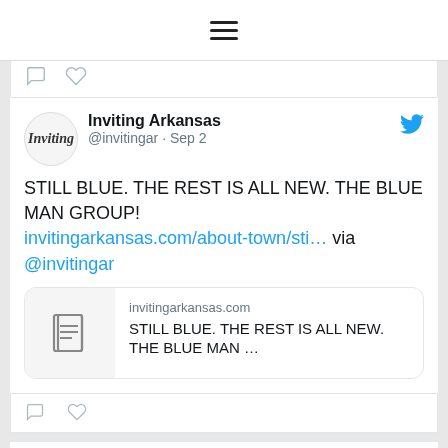[Figure (screenshot): Twitter/social media feed screenshot showing hamburger menu icon at top, and two tweet cards from @invitingar (Inviting Arkansas). First tweet: Sep 2, text 'STILL BLUE. THE REST IS ALL NEW. THE BLUE MAN GROUP!' with link invitingarkansas.com/about-town/sti... via @invitingar and a link preview card. Second tweet: Sep 1, partially visible.]